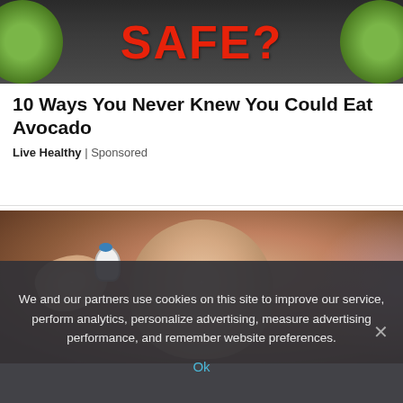[Figure (photo): Top portion of a photo showing avocados on a dark background with large red bold text reading SAFE?]
10 Ways You Never Knew You Could Eat Avocado
Live Healthy | Sponsored
[Figure (photo): Close-up portrait of an elderly man with white hair and mustache holding an eye drop bottle near his eye]
We and our partners use cookies on this site to improve our service, perform analytics, personalize advertising, measure advertising performance, and remember website preferences.
Ok